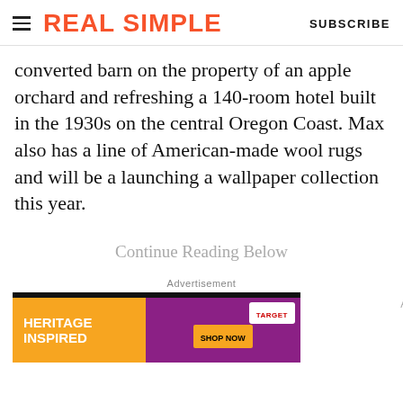REAL SIMPLE | SUBSCRIBE
converted barn on the property of an apple orchard and refreshing a 140-room hotel built in the 1930s on the central Oregon Coast. Max also has a line of American-made wool rugs and will be a launching a wallpaper collection this year.
Continue Reading Below
Advertisement
[Figure (other): Target advertisement banner showing 'HERITAGE INSPIRED' text on orange and purple background with Target logo and Shop Now button]